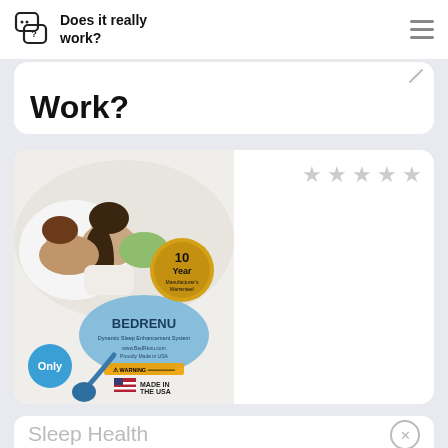Does it really work?
Work?
[Figure (photo): BedRenu sleep improvement system product photo showing a couple sleeping peacefully, with the BedRenu device, a 10 Year Manufacturer's Warranty badge, and a Made in the USA flag badge.]
Sleep Health